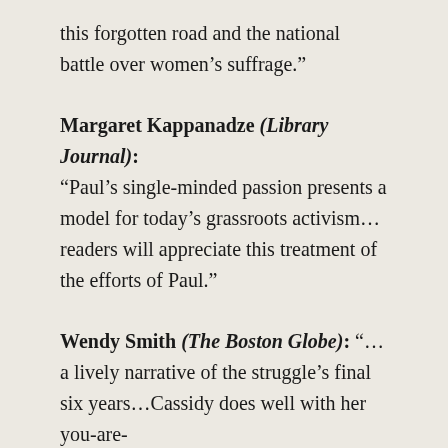this forgotten road and the national battle over women’s suffrage.”
Margaret Kappanadze (Library Journal): “Paul’s single-minded passion presents a model for today’s grassroots activism… readers will appreciate this treatment of the efforts of Paul.”
Wendy Smith (The Boston Globe): “…a lively narrative of the struggle’s final six years…Cassidy does well with her you-are-